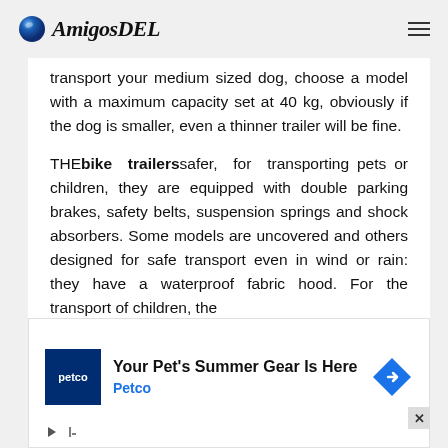AmigosDEL
transport your medium sized dog, choose a model with a maximum capacity set at 40 kg, obviously if the dog is smaller, even a thinner trailer will be fine.
THE bike trailers safer, for transporting pets or children, they are equipped with double parking brakes, safety belts, suspension springs and shock absorbers. Some models are uncovered and others designed for safe transport even in wind or rain: they have a waterproof fabric hood. For the transport of children, the
[Figure (other): Petco advertisement banner: 'Your Pet's Summer Gear Is Here' with Petco logo and blue diamond arrow icon]